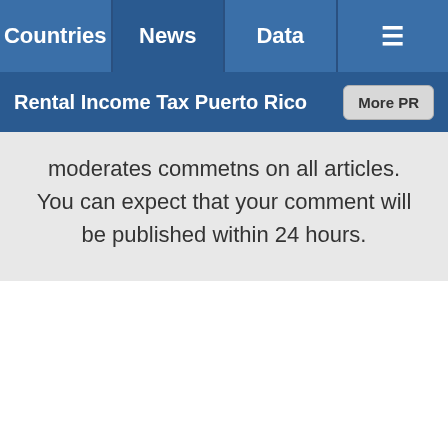Countries | News | Data | ≡
Rental Income Tax Puerto Rico
moderates commetns on all articles. You can expect that your comment will be published within 24 hours.